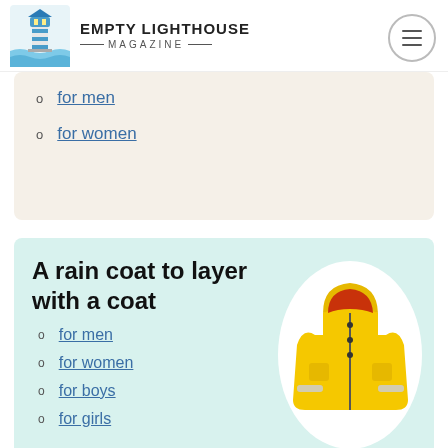EMPTY LIGHTHOUSE MAGAZINE
for men
for women
A rain coat to layer with a coat
[Figure (photo): Yellow children's rain jacket with reflective strips on sleeves, displayed on white oval background]
for men
for women
for boys
for girls
100% waterproof
[Figure (photo): Black waterproof boots/leggings on white oval background]